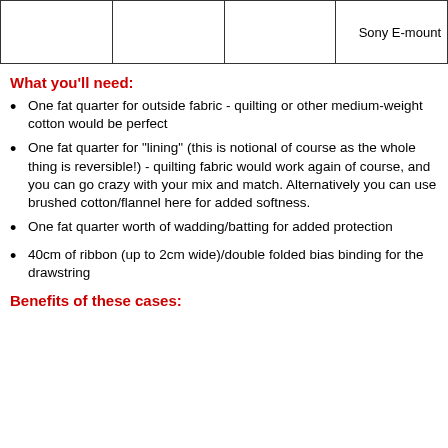|  |  |  | Sony E-mount |
| --- | --- | --- | --- |
| ['', '', '', 'Sony E-mount'] |
What you'll need:
One fat quarter for outside fabric - quilting or other medium-weight cotton would be perfect
One fat quarter for “lining” (this is notional of course as the whole thing is reversible!) - quilting fabric would work again of course, and you can go crazy with your mix and match. Alternatively you can use brushed cotton/flannel here for added softness.
One fat quarter worth of wadding/batting for added protection
40cm of ribbon (up to 2cm wide)/double folded bias binding for the drawstring
Benefits of these cases: